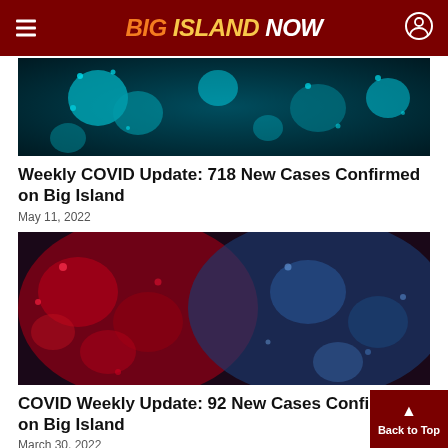Big Island Now
[Figure (photo): Microscopic image of COVID-19 virus particles with blue/teal coloring]
Weekly COVID Update: 718 New Cases Confirmed on Big Island
May 11, 2022
[Figure (photo): Microscopic image of COVID-19 virus particles with red and blue coloring]
COVID Weekly Update: 92 New Cases Confirmed on Big Island
March 30, 2022